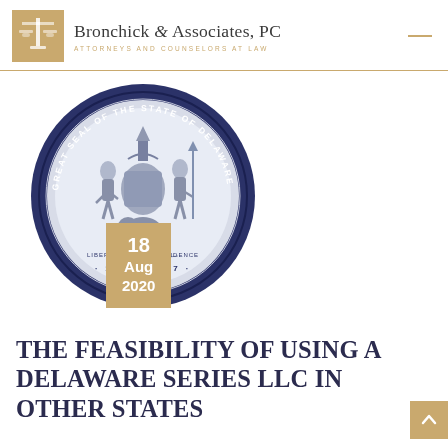Bronchick & Associates, PC — ATTORNEYS AND COUNSELORS AT LAW
[Figure (photo): Great Seal of the State of Delaware — a circular silver and blue seal with figures, a ship, and text reading 'GREAT SEAL OF THE STATE OF DELAWARE' around the perimeter, with dates 1847 and 1907. A tan/gold date badge overlaid reads '18 Aug 2020'.]
THE FEASIBILITY OF USING A DELAWARE SERIES LLC IN OTHER STATES